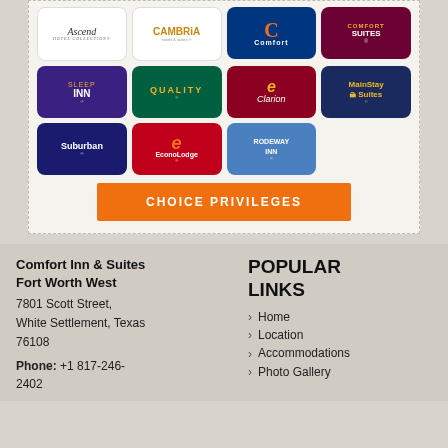[Figure (logo): Grid of hotel brand logos: Ascend Hotel Collection, Cambria Hotels & Suites, Comfort, Comfort Suites, Sleep Inn, Quality, Clarion, MainStay Suites, Suburban, EconoLodge, Rodeway Inn; plus a Choice Privileges orange button]
Comfort Inn & Suites Fort Worth West
7801 Scott Street, White Settlement, Texas 76108
Phone: +1 817-246-2402
POPULAR LINKS
Home
Location
Accommodations
Photo Gallery